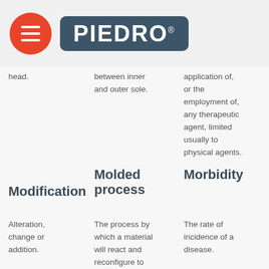[Figure (logo): Piedro brand logo with orange hamburger menu circle and grey rounded rectangle with PIEDRO text in white]
head.
between inner and outer sole.
application of, or the employment of, any therapeutic agent, limited usually to physical agents.
Modification
Molded process
Morbidity
Alteration, change or addition.
The process by which a material will react and reconfigure to meet contours of a positive
The rate of incidence of a disease.